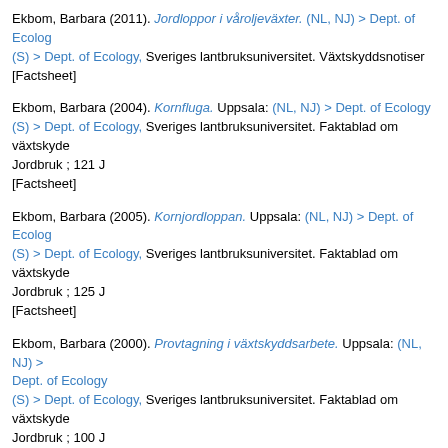Ekbom, Barbara (2011). Jordloppor i våroljeväxter. (NL, NJ) > Dept. of Ecology (S) > Dept. of Ecology, Sveriges lantbruksuniversitet. Växtskyddsnotiser [Factsheet]
Ekbom, Barbara (2004). Kornfluga. Uppsala: (NL, NJ) > Dept. of Ecology (S) > Dept. of Ecology, Sveriges lantbruksuniversitet. Faktablad om växtskydd Jordbruk ; 121 J [Factsheet]
Ekbom, Barbara (2005). Kornjordloppan. Uppsala: (NL, NJ) > Dept. of Ecology (S) > Dept. of Ecology, Sveriges lantbruksuniversitet. Faktablad om växtskydd Jordbruk ; 125 J [Factsheet]
Ekbom, Barbara (2000). Provtagning i växtskyddsarbete. Uppsala: (NL, NJ) > Dept. of Ecology (S) > Dept. of Ecology, Sveriges lantbruksuniversitet. Faktablad om växtskydd Jordbruk ; 100 J [Factsheet]
Ekbom, Barbara (2002). Resistens mot insektbekämpningsmedel. Uppsala: (NL, NJ) > Dept. of Ecology (S) > Dept. of Ecology, Sveriges lantbruksuniversitet. Faktablad om växtskydd Jordbruk ; 109 J [Factsheet]
Ekbom, Barbara and Lindblad, Mats (2004). Temperatursummor för att förutsätta insekters utvecklingshastighet. Uppsala: (NL, NJ) > Dept. of Ecology (S) > Dept. of Ecology, Sveriges lantbruksuniversitet. Faktablad om växtskydd Jordbruk ; 118 J